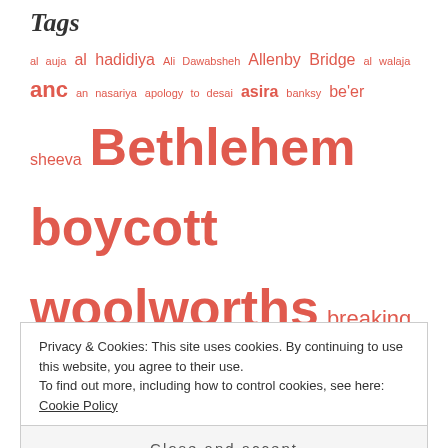Tags
al auja al hadidiya Ali Dawabsheh Allenby Bridge al walaja anc an nasariya apology to desai asira banksy be'er sheeva Bethlehem boycott woolworths breaking the silence cape town checkpoint 300 Chief Justice Mogoeng Mogoeng on Israel children in armed conflict christian viewpoints christmas cordoba school demilitarising the israeli society EAPPI edwin arrison elie wiesel eye witness accounts films Gaza Freedom Flotilla genocide haganah hebron heidi grunebaum holocaust memorial Islam islamic unity convention israeli
Privacy & Cookies: This site uses cookies. By continuing to use this website, you agree to their use.
To find out more, including how to control cookies, see here: Cookie Policy
Close and accept
lood paul hendler prayer qalandia checkpoint east jerusalem qusra refusal to